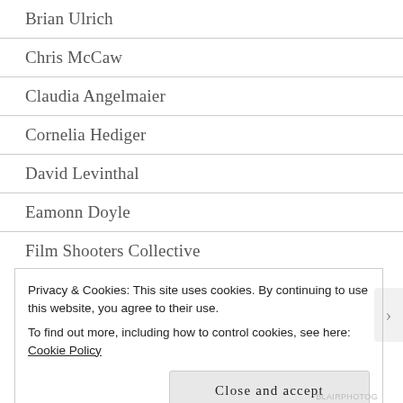Brian Ulrich
Chris McCaw
Claudia Angelmaier
Cornelia Hediger
David Levinthal
Eamonn Doyle
Film Shooters Collective
Privacy & Cookies: This site uses cookies. By continuing to use this website, you agree to their use.
To find out more, including how to control cookies, see here: Cookie Policy
Close and accept
BLAIPHOTOG